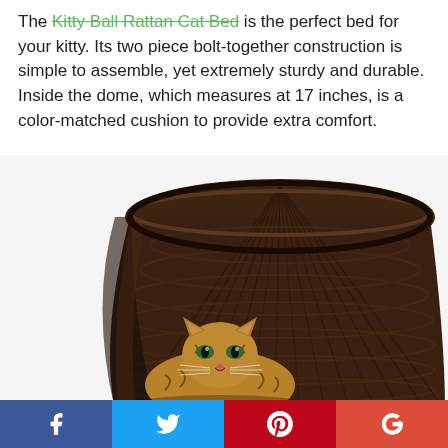The Kitty Ball Rattan Cat Bed is the perfect bed for your kitty. Its two piece bolt-together construction is simple to assemble, yet extremely sturdy and durable. Inside the dome, which measures at 17 inches, is a color-matched cushion to provide extra comfort.
[Figure (photo): A tabby cat sitting inside a large dark brown wicker/rattan dome cat bed, photographed from the front showing the interior weave pattern.]
[Figure (infographic): Social sharing bar with four buttons: Facebook (blue), Twitter (light blue), Pinterest (red), Google+ (red-orange)]